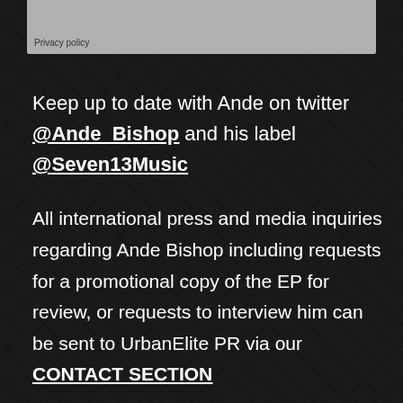Privacy policy
Keep up to date with Ande on twitter @Ande_Bishop and his label @Seven13Music
All international press and media inquiries regarding Ande Bishop including requests for a promotional copy of the EP for review, or requests to interview him can be sent to UrbanElite PR via our CONTACT SECTION
UrbanElite PR
www.urbanelitepr.com